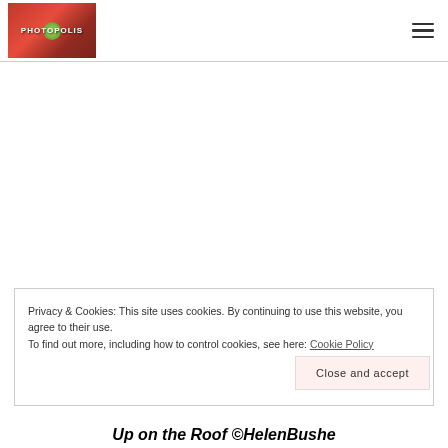[Figure (logo): Photopolis logo: red poppy flower photo with PHOTOPOLIS text overlay]
[Figure (other): Hamburger menu icon (three horizontal lines) in top right corner]
Privacy & Cookies: This site uses cookies. By continuing to use this website, you agree to their use.
To find out more, including how to control cookies, see here: Cookie Policy
Close and accept
Up on the Roof ©HelenBushe